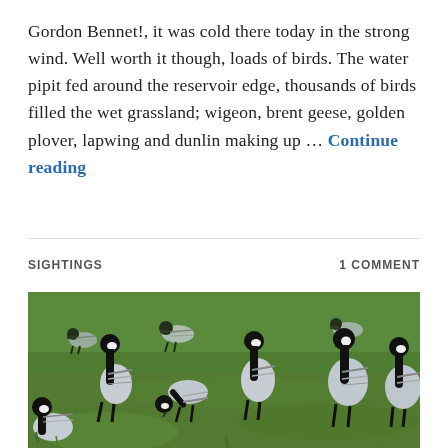Gordon Bennet!, it was cold there today in the strong wind. Well worth it though, loads of birds. The water pipit fed around the reservoir edge, thousands of birds filled the wet grassland; wigeon, brent geese, golden plover, lapwing and dunlin making up … Continue reading
SIGHTINGS    1 COMMENT
[Figure (photo): A flock of barnacle geese (black-and-white birds with grey barred wings) grazing on a green grass field, photographed in natural daylight.]